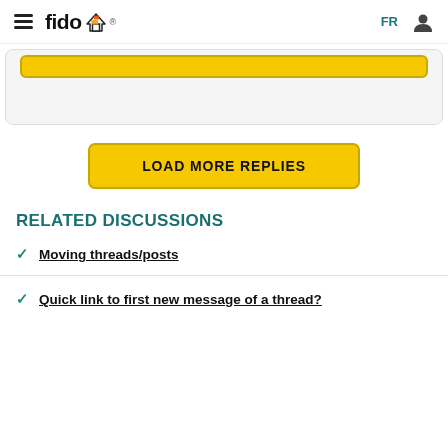fido FR [user icon]
[LOAD MORE REPLIES button]
RELATED DISCUSSIONS
Moving threads/posts
Quick link to first new message of a thread?